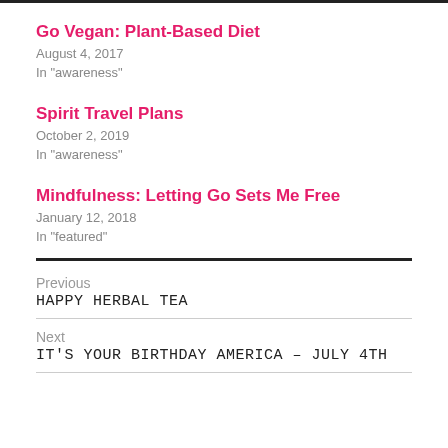Go Vegan: Plant-Based Diet
August 4, 2017
In "awareness"
Spirit Travel Plans
October 2, 2019
In "awareness"
Mindfulness: Letting Go Sets Me Free
January 12, 2018
In "featured"
Previous
HAPPY HERBAL TEA
Next
IT'S YOUR BIRTHDAY AMERICA – JULY 4TH